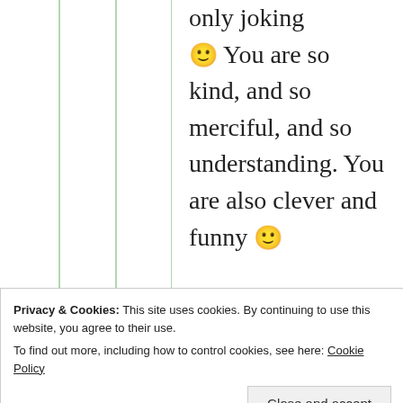I was only joking 🙂 You are so kind, and so merciful, and so understanding. You are also clever and funny 🙂
Privacy & Cookies: This site uses cookies. By continuing to use this website, you agree to their use. To find out more, including how to control cookies, see here: Cookie Policy
Close and accept